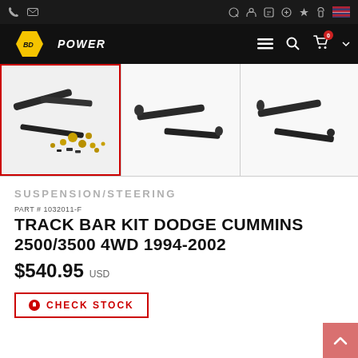BD Power navigation bar with logo, icons, and cart
[Figure (photo): Three product thumbnail images of track bar kit parts (steering rods and hardware) for Dodge Cummins. First image (selected with red border) shows full kit with hardware, second and third show individual rods.]
SUSPENSION/STEERING
PART # 1032011-F
TRACK BAR KIT DODGE CUMMINS 2500/3500 4WD 1994-2002
$540.95 USD
CHECK STOCK